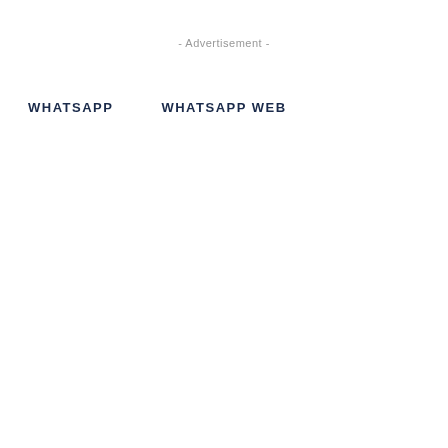- Advertisement -
WHATSAPP    WHATSAPP WEB